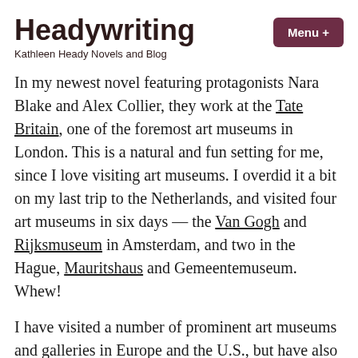Headywriting
Kathleen Heady Novels and Blog
In my newest novel featuring protagonists Nara Blake and Alex Collier, they work at the Tate Britain, one of the foremost art museums in London. This is a natural and fun setting for me, since I love visiting art museums. I overdid it a bit on my last trip to the Netherlands, and visited four art museums in six days — the Van Gogh and Rijksmuseum in Amsterdam, and two in the Hague, Mauritshaus and Gemeentemuseum. Whew!
I have visited a number of prominent art museums and galleries in Europe and the U.S., but have also found hidden gems in small towns and other out of the way places. I love the Museum of Costa Rican